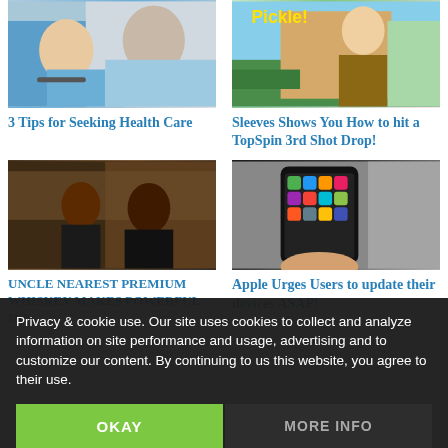[Figure (photo): Two people in a medical/office setting, one holding a pen]
3 Tips for Seeking Health Care
[Figure (photo): Person in casual clothes outdoors near a building with yellow 'Pickle!' text]
Sleeves Shows You How to hit a TopSpin 3rd Shot Drop!
[Figure (photo): Two women posing in front of a bar with whiskey bottles]
UNCLE NEAREST PREMIUM WHISKEY MAKES POWERFUL INC.
[Figure (photo): Hand holding a smartphone showing app grid, with blurred background]
Apple Urges Users to update their devices ASAP!
Privacy & cookie use. Our site uses cookies to collect and analyze information on site performance and usage, advertising and to customize our content. By continuing to us this website, you agree to their use.